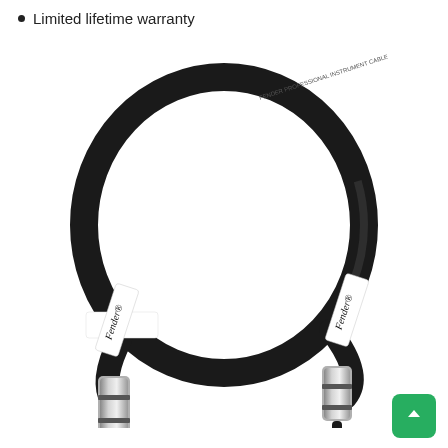Limited lifetime warranty
[Figure (photo): A coiled black Fender instrument cable with two straight 1/4-inch jack plugs on each end. Both connectors have silver/chrome barrels with black plugs. White Fender logo labels are visible on both ends of the cable.]